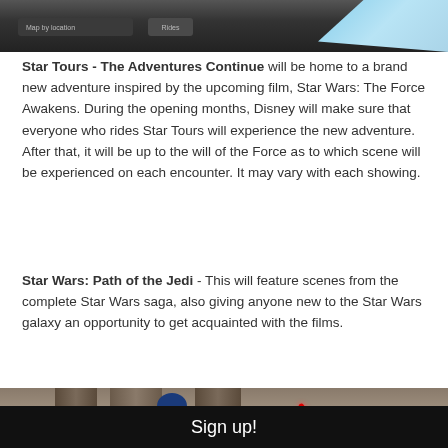[Figure (photo): Top portion of a dark interface panel or vehicle interior with navigation bar elements visible, with blue sky visible at right edge]
Star Tours - The Adventures Continue will be home to a brand new adventure inspired by the upcoming film, Star Wars: The Force Awakens. During the opening months, Disney will make sure that everyone who rides Star Tours will experience the new adventure. After that, it will be up to the will of the Force as to which scene will be experienced on each encounter. It may vary with each showing.
Star Wars: Path of the Jedi - This will feature scenes from the complete Star Wars saga, also giving anyone new to the Star Wars galaxy an opportunity to get acquainted with the films.
[Figure (photo): Star Wars themed attraction scene showing a Darth Vader-like figure in a stone corridor with a red lightsaber, and a blue social media overlay button in the bottom right]
Sign up!